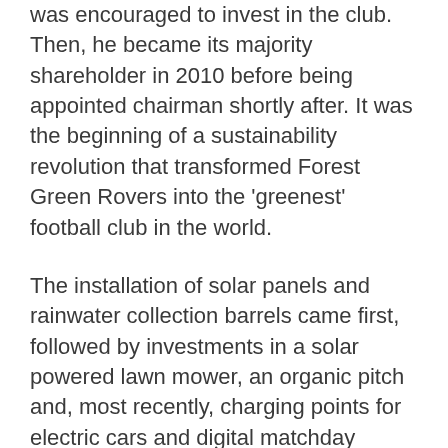was encouraged to invest in the club. Then, he became its majority shareholder in 2010 before being appointed chairman shortly after. It was the beginning of a sustainability revolution that transformed Forest Green Rovers into the ‘greenest’ football club in the world.
The installation of solar panels and rainwater collection barrels came first, followed by investments in a solar powered lawn mower, an organic pitch and, most recently, charging points for electric cars and digital matchday programmes.
Despite a mixed first season with Vince at the helm, Forest Green Rovers’ on